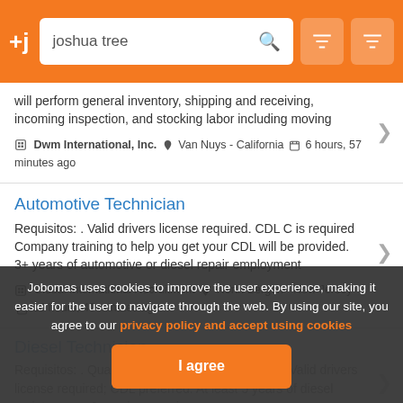+j  [search: joshua tree]
will perform general inventory, shipping and receiving, incoming inspection, and stocking labor including moving
Dwm International, Inc.  Van Nuys - California  6 hours, 57 minutes ago
Automotive Technician
Requisitos: . Valid drivers license required. CDL C is required Company training to help you get your CDL will be provided. 3+ years of automotive or diesel repair employment
Global International Recruitment  North Bergen - New Jersey  13 hours, 40 minutes ago
Diesel Technician
Requisitos: . Qualifications for Diesel Technician. Valid drivers license required; CDL preferred. At least 5 years of diesel maintenance & repair emp... ience or a
Global International Recruitment  Brooklyn - New York
Jobomas uses cookies to improve the user experience, making it easier for the user to navigate through the web. By using our site, you agree to our privacy policy and accept using cookies